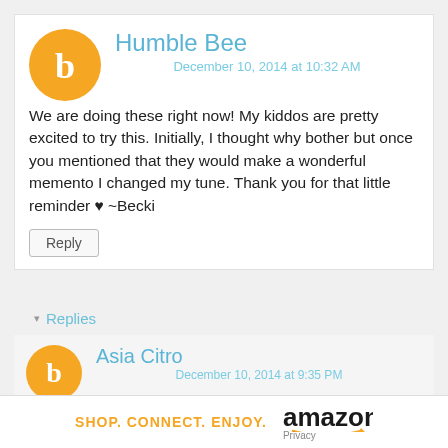[Figure (logo): Blogger orange circle avatar with 'b' letter for Humble Bee]
Humble Bee
December 10, 2014 at 10:32 AM
We are doing these right now! My kiddos are pretty excited to try this. Initially, I thought why bother but once you mentioned that they would make a wonderful memento I changed my tune. Thank you for that little reminder ♥ ~Becki
Reply
▾ Replies
[Figure (logo): Blogger orange circle avatar with 'b' letter for Asia Citro]
Asia Citro
December 10, 2014 at 9:35 PM
Hope you guys love them! Ours look every bit as amazing
SHOP. CONNECT. ENJOY.  amazon  Privacy